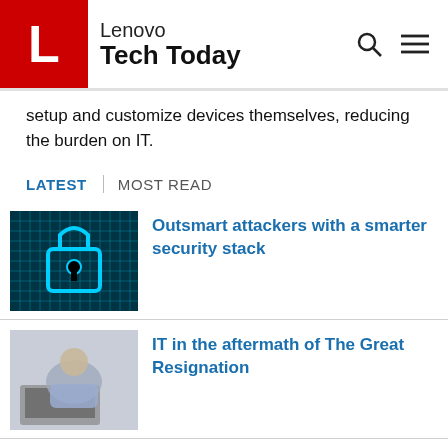Lenovo Tech Today
setup and customize devices themselves, reducing the burden on IT.
LATEST   MOST READ
[Figure (photo): Digital padlock with keyhole on glowing blue circuit board background — cybersecurity concept]
Outsmart attackers with a smarter security stack
[Figure (photo): Person in casual clothing sitting with a laptop — remote work / Great Resignation concept]
IT in the aftermath of The Great Resignation
[Figure (photo): Partially visible green outdoor image — green credentials article thumbnail]
Green credentials are important